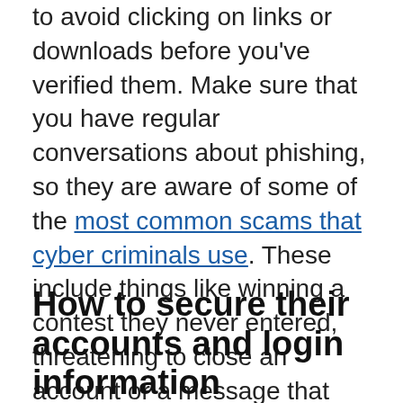to avoid clicking on links or downloads before you've verified them. Make sure that you have regular conversations about phishing, so they are aware of some of the most common scams that cyber criminals use. These include things like winning a contest they never entered, threatening to close an account or a message that seems to be from someone they know. Talking about these examples can help kids know what signs to look out for.
How to secure their accounts and login information